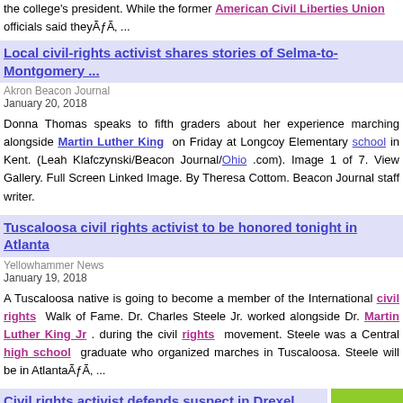the college's president. While the former American Civil Liberties Union officials said theyÃƒÃ ...
Local civil-rights activist shares stories of Selma-to-Montgomery ...
Akron Beacon Journal
January 20, 2018
Donna Thomas speaks to fifth graders about her experience marching alongside Martin Luther King on Friday at Longcoy Elementary school in Kent. (Leah Klafczynski/Beacon Journal/Ohio .com). Image 1 of 7. View Gallery. Full Screen Linked Image. By Theresa Cottom. Beacon Journal staff writer.
Tuscaloosa civil rights activist to be honored tonight in Atlanta
Yellowhammer News
January 19, 2018
A Tuscaloosa native is going to become a member of the International civil rights Walk of Fame. Dr. Charles Steele Jr. worked alongside Dr. Martin Luther King Jr . during the civil rights movement. Steele was a Central high school graduate who organized marches in Tuscaloosa. Steele will be in AtlantaÃƒÃ ...
Civil rights activist defends suspect in Drexel disappearance
13WHAM-TV